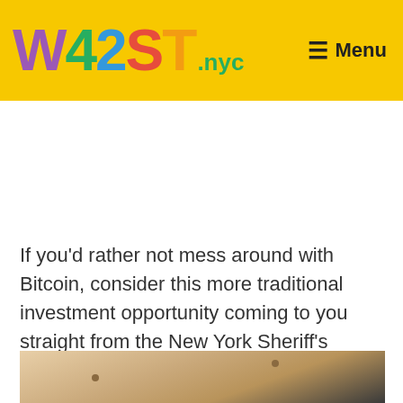W42ST.nyc — Menu
If you'd rather not mess around with Bitcoin, consider this more traditional investment opportunity coming to you straight from the New York Sheriff's Office. Today, there will be a Sheriff's sale of 40 gold bullion bars, alongside other valuables.
[Figure (photo): Bottom portion of a wooden table surface with visible grain and dark spots/knots, partially obscured at edges]